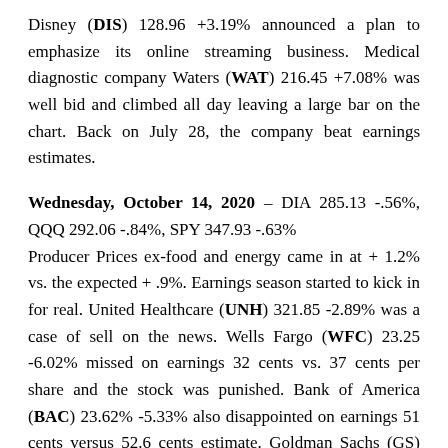Disney (DIS) 128.96 +3.19% announced a plan to emphasize its online streaming business. Medical diagnostic company Waters (WAT) 216.45 +7.08% was well bid and climbed all day leaving a large bar on the chart. Back on July 28, the company beat earnings estimates.
Wednesday, October 14, 2020 – DIA 285.13 -.56%, QQQ 292.06 -.84%, SPY 347.93 -.63% Producer Prices ex-food and energy came in at + 1.2% vs. the expected + .9%. Earnings season started to kick in for real. United Healthcare (UNH) 321.85 -2.89% was a case of sell on the news. Wells Fargo (WFC) 23.25 -6.02% missed on earnings 32 cents vs. 37 cents per share and the stock was punished. Bank of America (BAC) 23.62% -5.33% also disappointed on earnings 51 cents versus 52.6 cents estimate. Goldman Sachs (GS) 211.23 + .02%